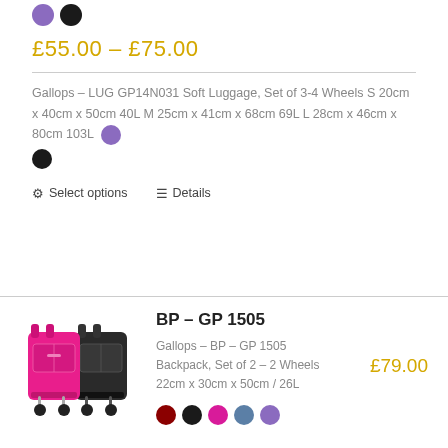[Figure (other): Two color swatches: purple and black circles]
£55.00 – £75.00
Gallops – LUG GP14N031 Soft Luggage, Set of 3-4 Wheels S 20cm x 40cm x 50cm 40L M 25cm x 41cm x 68cm 69L L 28cm x 46cm x 80cm 103L
Select options   Details
BP – GP 1505
Gallops – BP – GP 1505 Backpack, Set of 2 – 2 Wheels 22cm x 30cm x 50cm / 26L
£79.00
[Figure (other): Five color swatches: dark red, black, pink/magenta, steel blue, purple circles]